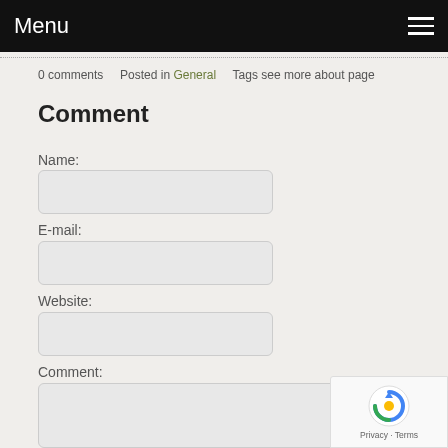Menu
0 comments   Posted in General   Tags see more about page
Comment
Name:
E-mail:
Website:
Comment: